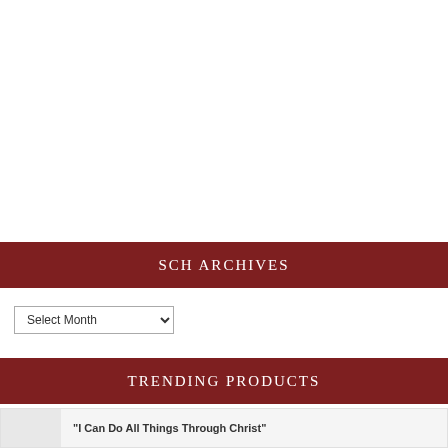SCH ARCHIVES
Select Month
TRENDING PRODUCTS
"I Can Do All Things Through Christ"